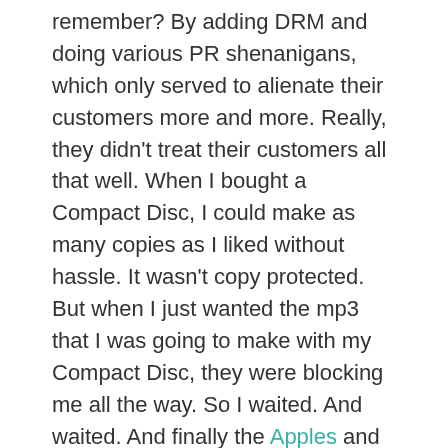remember? By adding DRM and doing various PR shenanigans, which only served to alienate their customers more and more. Really, they didn't treat their customers all that well. When I bought a Compact Disc, I could make as many copies as I liked without hassle. It wasn't copy protected. But when I just wanted the mp3 that I was going to make with my Compact Disc, they were blocking me all the way. So I waited. And waited. And finally the Apples and Amazons of the world managed to convince enough guys in suits to get their heads out of their own arses and sell me something I actually want.
But how do you cope with all the onslaught? Anybody with a few bucks can get digital distribution now, and the album is never out of stock. And that's a good thing.